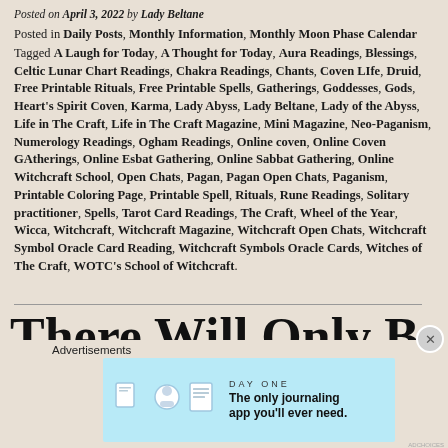Posted on April 3, 2022 by Lady Beltane
Posted in Daily Posts, Monthly Information, Monthly Moon Phase Calendar
Tagged A Laugh for Today, A Thought for Today, Aura Readings, Blessings, Celtic Lunar Chart Readings, Chakra Readings, Chants, Coven LIfe, Druid, Free Printable Rituals, Free Printable Spells, Gatherings, Goddesses, Gods, Heart's Spirit Coven, Karma, Lady Abyss, Lady Beltane, Lady of the Abyss, Life in The Craft, Life in The Craft Magazine, Mini Magazine, Neo-Paganism, Numerology Readings, Ogham Readings, Online coven, Online Coven GAtherings, Online Esbat Gathering, Online Sabbat Gathering, Online Witchcraft School, Open Chats, Pagan, Pagan Open Chats, Paganism, Printable Coloring Page, Printable Spell, Rituals, Rune Readings, Solitary practitioner, Spells, Tarot Card Readings, The Craft, Wheel of the Year, Wicca, Witchcraft, Witchcraft Magazine, Witchcraft Open Chats, Witchcraft Symbol Oracle Card Reading, Witchcraft Symbols Oracle Cards, Witches of The Craft, WOTC's School of Witchcraft.
There Will Only Be a
Advertisements
[Figure (infographic): Day One journaling app advertisement banner with light blue background, app icons, and tagline 'The only journaling app you'll ever need.']